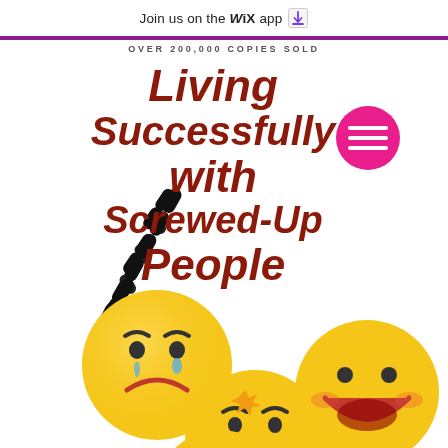Join us on the WiX app
OVER 200,000 COPIES SOLD
Living Successfully with Screwed-Up People
[Figure (illustration): Book cover showing three emoji faces on a zigzag dashed path — sad/crying face (upper left), crying/distressed face (lower center-left), happy smiling face (lower right), and a fourth emoji partially visible at bottom. A pink circle with hamburger menu lines appears top right.]